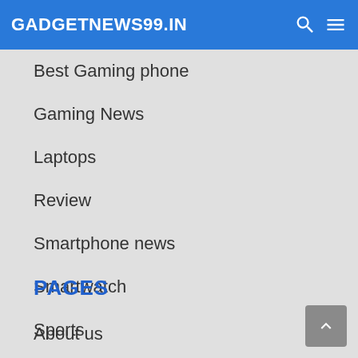GADGETNEWS99.IN
Best Gaming phone
Gaming News
Laptops
Review
Smartphone news
Smartwatch
Sports
PAGES
About us
Contact us